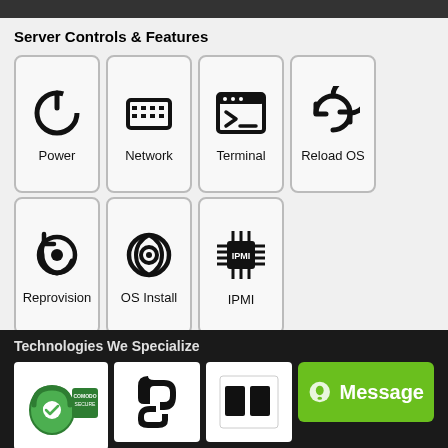Server Controls & Features
[Figure (infographic): Grid of 7 server control icons: Power, Network, Terminal, Reload OS (top row); Reprovision, OS Install, IPMI (bottom row)]
You are here
Home › Servers & Hosting › VPS Hosting › VPS OpenVZ Hosting (Linux)
Technologies We Specialize
[Figure (infographic): Technology logos row: Comodo Secure badge, Joomla logo, partial logo, Message button overlay, Certified Secure badge]